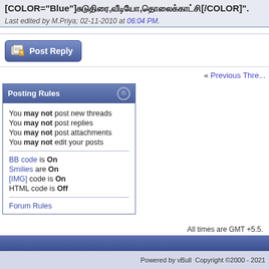[COLOR="Blue"]சுடுதிரை,வீடியோ,தொலைக்காட்சி[/COLOR]".
Last edited by M.Priya; 02-11-2010 at 06:04 PM.
[Figure (screenshot): Post Reply button with pencil/paper icon]
« Previous Thre...
Posting Rules
You may not post new threads
You may not post replies
You may not post attachments
You may not edit your posts
BB code is On
Smilies are On
[IMG] code is On
HTML code is Off
Forum Rules
All times are GMT +5.5.
Powered by vBull
Copyright ©2000 - 2021